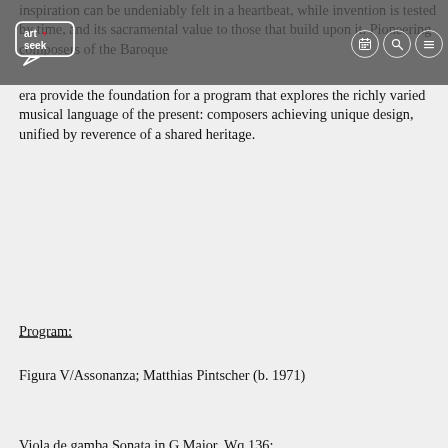[Figure (logo): ArtSeek logo — white rounded rectangle with 'art seek' text in white on dark background, small red heart icon, speech bubble shape]
inspiration can be undeniably felt in a heartbeat, while invention is tested by time, and its sacramental value to those that build upon it. Pioneering composers of the Baroque era provide the foundation for a program that explores the richly varied musical language of the present: composers achieving unique design, unified by reverence of a shared heritage.
Program:
Figura V/Assonanza; Matthias Pintscher (b. 1971)
Viola de gamba Sonata in G Major, Wq 136;